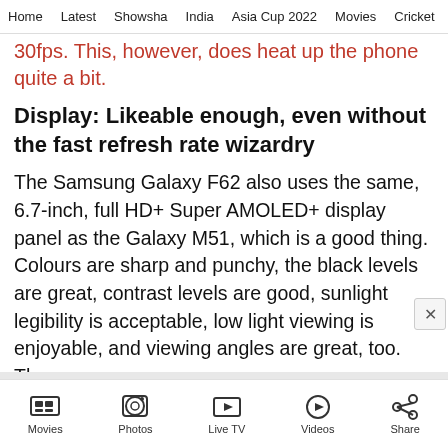Home   Latest   Showsha   India   Asia Cup 2022   Movies   Cricket
30fps. This, however, does heat up the phone quite a bit.
Display: Likeable enough, even without the fast refresh rate wizardry
The Samsung Galaxy F62 also uses the same, 6.7-inch, full HD+ Super AMOLED+ display panel as the Galaxy M51, which is a good thing. Colours are sharp and punchy, the black levels are great, contrast levels are good, sunlight legibility is acceptable, low light viewing is enjoyable, and viewing angles are great, too. The one problem with this display...
Movies   Photos   Live TV   Videos   Share